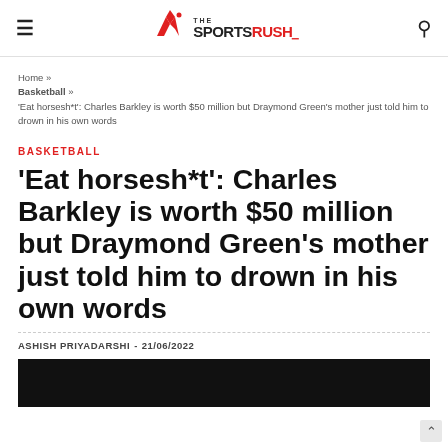The Sports Rush
Home » Basketball » 'Eat horsesh*t': Charles Barkley is worth $50 million but Draymond Green's mother just told him to drown in his own words
BASKETBALL
'Eat horsesh*t': Charles Barkley is worth $50 million but Draymond Green's mother just told him to drown in his own words
ASHISH PRIYADARSHI - 21/06/2022
[Figure (photo): Black image placeholder at bottom of article]